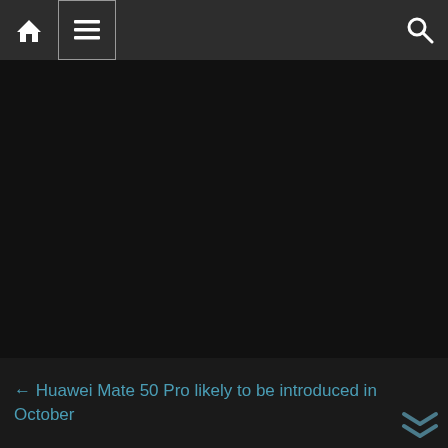Navigation bar with home icon, menu icon, and search icon
← Huawei Mate 50 Pro likely to be introduced in October